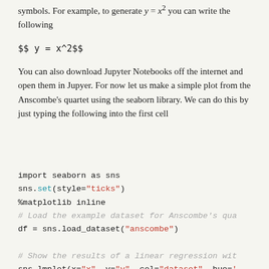symbols. For example, to generate y = x² you can write the following
You can also download Jupyter Notebooks off the internet and open them in Jupyer. For now let us make a simple plot from the Anscombe's quartet using the seaborn library. We can do this by just typing the following into the first cell
import seaborn as sns
sns.set(style="ticks")
%matplotlib inline
# Load the example dataset for Anscombe's qua
df = sns.load_dataset("anscombe")

# Show the results of a linear regression wit
sns.lmplot(x="x", y="y", col="dataset", hue='
        col_wrap=2, ci=None, palette="mute